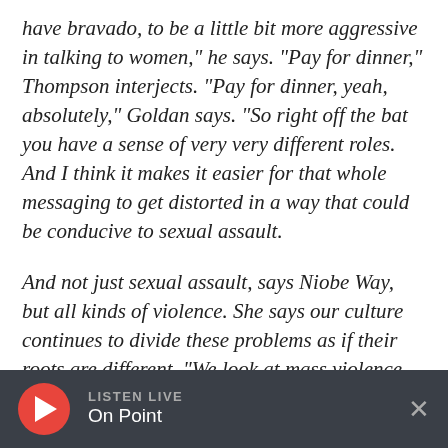have bravado, to be a little bit more aggressive in talking to women," he says. "Pay for dinner," Thompson interjects. "Pay for dinner, yeah, absolutely," Goldan says. "So right off the bat you have a sense of very very different roles. And I think it makes it easier for that whole messaging to get distorted in a way that could be conducive to sexual assault.
And not just sexual assault, says Niobe Way, but all kinds of violence. She says our culture continues to divide these problems as if their roots are different. "We look at mass violence and
LISTEN LIVE On Point